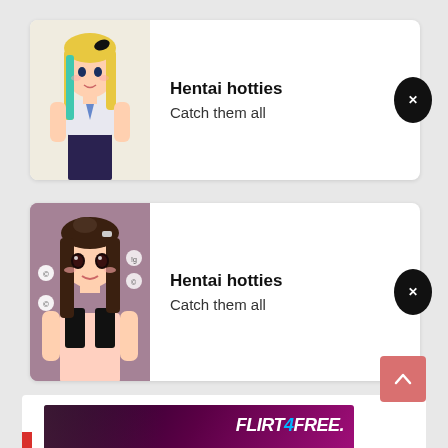[Figure (illustration): Notification card 1: anime girl with blonde/teal hair in uniform on white card background]
Hentai hotties
Catch them all
[Figure (illustration): Notification card 2: anime girl with dark hair on purple/pink background]
Hentai hotties
Catch them all
[Figure (photo): Banner advertisement for FLIRT4FREE showing a woman and text LIVE. NUDE.]
[Figure (other): Scroll to top arrow button (pink/salmon colored)]